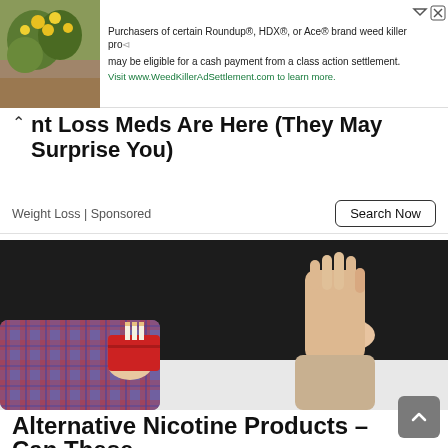[Figure (screenshot): Advertisement banner with plant/flower background image on left and text about Roundup weed killer class action settlement on right]
nt Loss Meds Are Here (They May Surprise You)
Weight Loss | Sponsored
Search Now
[Figure (photo): A hand in a plaid sleeve holds out a red cigarette pack with cigarettes visible, while another bare hand makes a stop/refusal gesture against a dark background]
Alternative Nicotine Products – Can These